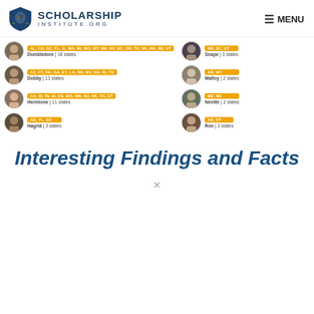SCHOLARSHIP INSTITUTE.ORG | MENU
[Figure (screenshot): Grid of scholarship advisor profile cards with Harry Potter character names (Dumbledore, Dobby, Hermione, Hagrid, Snape, Malfoy, Neville, Ron) and their assigned US states shown in orange tags]
Interesting Findings and Facts